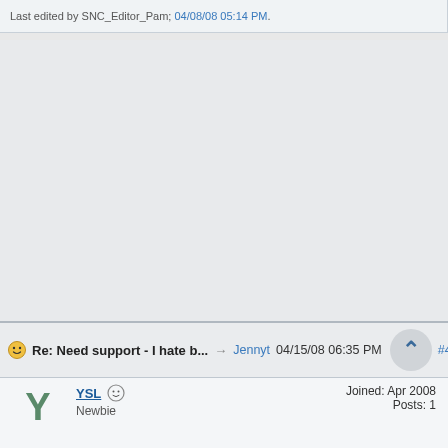Last edited by SNC_Editor_Pam; 04/08/08 05:14 PM.
Re: Need support - I hate b... → Jennyt 04/15/08 06:35 PM #40734
YSL Newbie
Joined: Apr 2008 Posts: 1